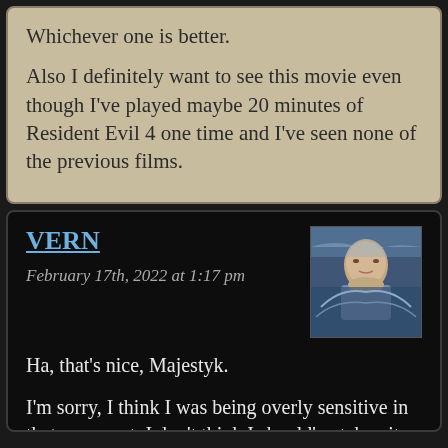Whichever one is better.
Also I definitely want to see this movie even though I've played maybe 20 minutes of Resident Evil 4 one time and I've seen none of the previous films.
VERN
February 17th, 2022 at 1:17 pm
[Figure (photo): Avatar photo of commenter Vern showing an artistic painted portrait of a man]
Ha, that's nice, Majestyk.
I'm sorry, I think I was being overly sensitive in that comment. I don't think I should've taken it personally or pushed back so hard against the idea